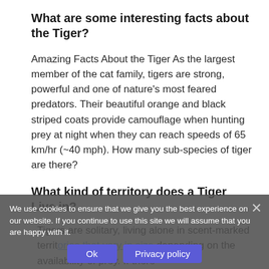What are some interesting facts about the Tiger?
Amazing Facts About the Tiger As the largest member of the cat family, tigers are strong, powerful and one of nature's most feared predators. Their beautiful orange and black striped coats provide camouflage when hunting prey at night when they can reach speeds of 65 km/hr (~40 mph). How many sub-species of tiger are there?
What kind of territory does a Tiger Live in?
Tigers are solitary, living alone in scent-marked territories that vary in size depending on the availability of prey. If there
We use cookies to ensure that we give you the best experience on our website. If you continue to use this site we will assume that you are happy with it.